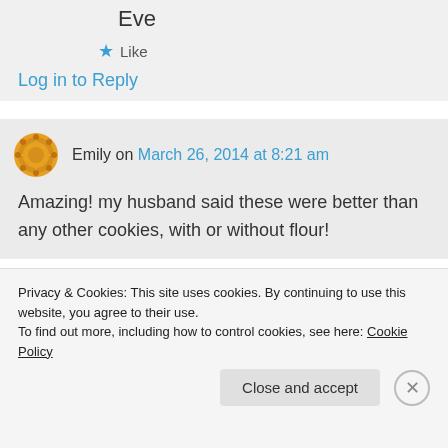Eve
★ Like
Log in to Reply
Emily on March 26, 2014 at 8:21 am
Amazing! my husband said these were better than any other cookies, with or without flour!
Privacy & Cookies: This site uses cookies. By continuing to use this website, you agree to their use.
To find out more, including how to control cookies, see here: Cookie Policy
Close and accept